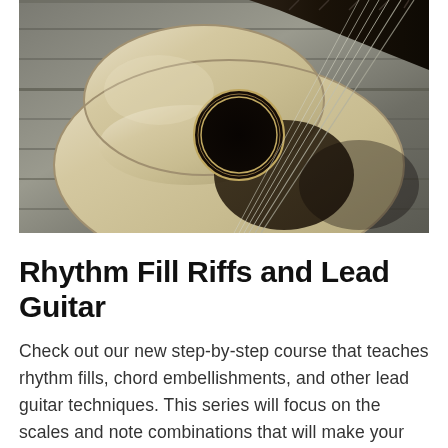[Figure (photo): Close-up photo of an acoustic guitar lying on a wooden floor, showing the body, sound hole, strings, and neck of the guitar. The image is in a warm sepia/grayscale tone.]
Rhythm Fill Riffs and Lead Guitar
Check out our new step-by-step course that teaches rhythm fills, chord embellishments, and other lead guitar techniques. This series will focus on the scales and note combinations that will make your playing sound the most